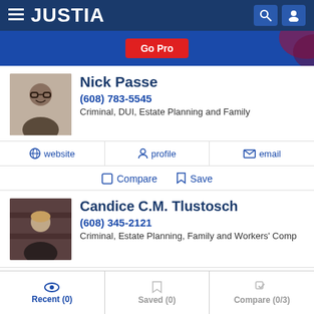JUSTIA
[Figure (screenshot): Go Pro promotional banner with blue background and decorative element]
Nick Passe
(608) 783-5545
Criminal, DUI, Estate Planning and Family
website
profile
email
Compare
Save
Candice C.M. Tlustosch
(608) 345-2121
Criminal, Estate Planning, Family and Workers' Comp
Recent (0)   Saved (0)   Compare (0/3)